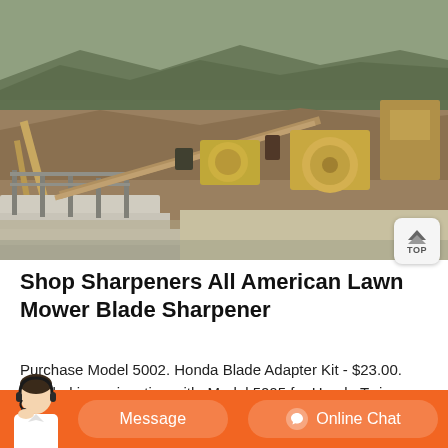[Figure (photo): Aerial view of an industrial or mining site with heavy equipment, conveyor belts, and machinery surrounded by mountainous terrain. The scene shows construction/excavation equipment in a dusty, hilly landscape.]
Shop Sharpeners All American Lawn Mower Blade Sharpener
Purchase Model 5002. Honda Blade Adapter Kit - $23.00. Needed in conjunction with. Model 5005 for Honda Twin Blade Sets. Dixie Chopper X-blade Adapter - $20.00. Needed in addition to 1 of the sharpener